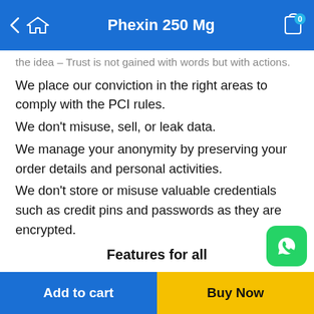Phexin 250 Mg
the idea – Trust is not gained with words but with actions.
We place our conviction in the right areas to comply with the PCI rules.
We don't misuse, sell, or leak data.
We manage your anonymity by preserving your order details and personal activities.
We don't store or misuse valuable credentials such as credit pins and passwords as they are encrypted.
Features for all
As e-commerce and its trends have gained traction, we make sure that we manage the pace and proffer seamless shopping and user experience. We regularly install new facilities in the